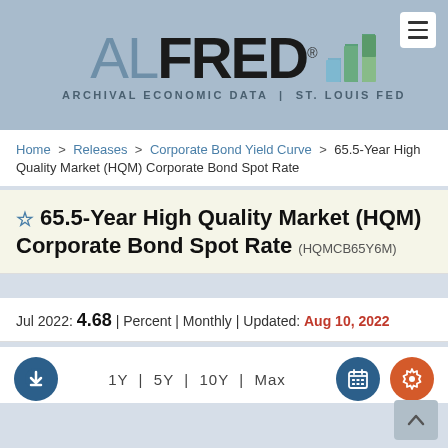ALFRED - Archival Economic Data | St. Louis Fed
Home > Releases > Corporate Bond Yield Curve > 65.5-Year High Quality Market (HQM) Corporate Bond Spot Rate
65.5-Year High Quality Market (HQM) Corporate Bond Spot Rate (HQMCB65Y6M)
Jul 2022: 4.68 | Percent | Monthly | Updated: Aug 10, 2022
1Y | 5Y | 10Y | Max